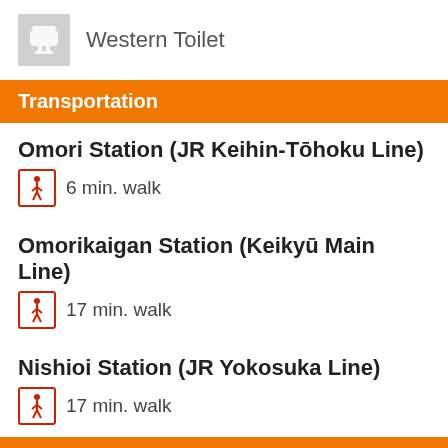Western Toilet
Transportation
Omori Station (JR Keihin-Tōhoku Line) — 6 min. walk
Omorikaigan Station (Keikyū Main Line) — 17 min. walk
Nishioi Station (JR Yokosuka Line) — 17 min. walk
Map
[Figure (map): Street map showing area near stations with Japanese text '株式会社古川製作所 東京本' and numbers 21, 20 visible, with an orange circle overlay and reCAPTCHA badge showing Privacy · Terms.]